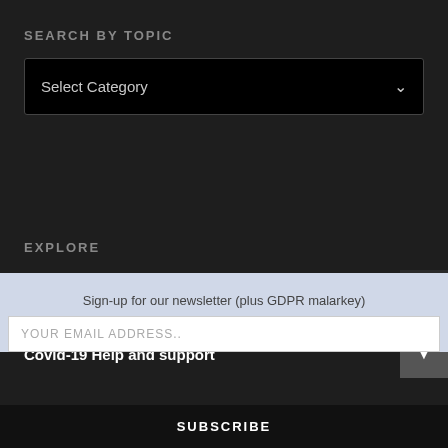SEARCH BY TOPIC
Select Category
EXPLORE
Business Events
Covid-19 Help and support
Sign-up for our newsletter (plus GDPR malarkey)
YOUR EMAIL ADDRESS..
SUBSCRIBE